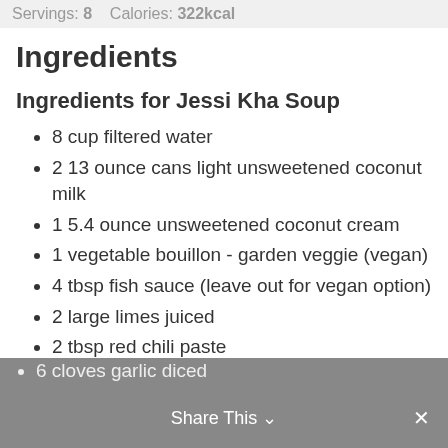Servings: 8    Calories: 322kcal
Ingredients
Ingredients for Jessi Kha Soup
8 cup filtered water
2 13 ounce cans light unsweetened coconut milk
1 5.4 ounce unsweetened coconut cream
1 vegetable bouillon - garden veggie (vegan)
4 tbsp fish sauce (leave out for vegan option)
2 large limes juiced
2 tbsp red chili paste
1 tsp cayenne pepper
1 sprig of lemongrass root diced
2 tbsp fresh ginger grated
6 cloves garlic diced
Share This ∨  ✕